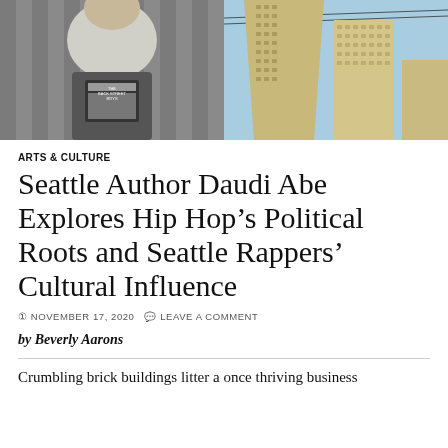[Figure (photo): Two-panel photo strip: left panel shows a person wearing a Backstreet Boys t-shirt against a patterned background; right panel shows tall modern skyscrapers against a blue sky]
ARTS & CULTURE
Seattle Author Daudi Abe Explores Hip Hop’s Political Roots and Seattle Rappers’ Cultural Influence
NOVEMBER 17, 2020   LEAVE A COMMENT
by Beverly Aarons
Crumbling brick buildings litter a once thriving business